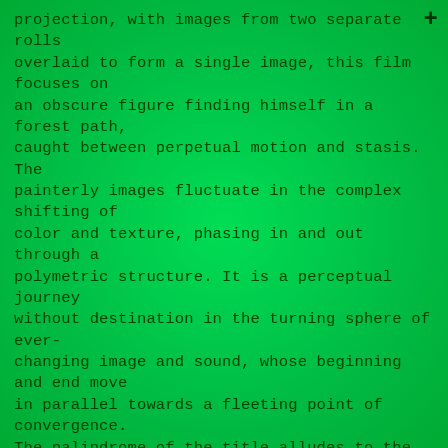projection, with images from two separate rolls overlaid to form a single image, this film focuses on an obscure figure finding himself in a forest path, caught between perpetual motion and stasis. The painterly images fluctuate in the complex shifting of color and texture, phasing in and out through a polymetric structure. It is a perceptual journey without destination in the turning sphere of ever-changing image and sound, whose beginning and end move in parallel towards a fleeting point of convergence. The palindrome of the title alludes to the structure of the film based on various combinations of a series of recurring sequences that move forward and in reverse simultaneously, defying the usual sense of progression. With original sound composition by Malcolm Goldstein.